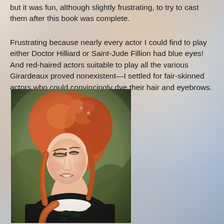but it was fun, although slightly frustrating, to try to cast them after this book was complete.
Frustrating because nearly every actor I could find to play either Doctor Hilliard or Saint-Jude Fillion had blue eyes! And red-haired actors suitable to play all the various Girardeaux proved nonexistent—I settled for fair-skinned actors who could convincingly dye their hair and eyebrows.
[Figure (photo): A young woman with long curly red-auburn hair styled up and braided, wearing a dark Victorian-style dress with white lace collar and dark ribbon details. She is smiling slightly, photographed outdoors with a blurred green background.]